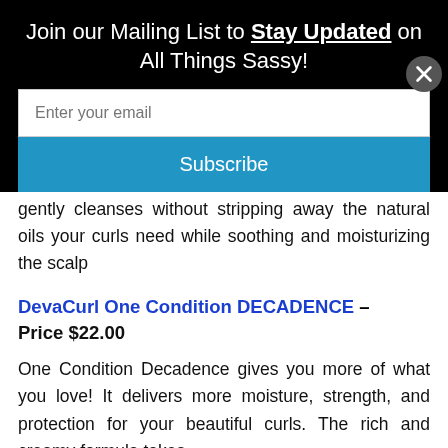Join our Mailing List to Stay Updated on All Things Sassy!
[Figure (screenshot): Email input field placeholder 'Enter your email' on white background]
[Figure (screenshot): Blue Subscribe button]
gently cleanses without stripping away the natural oils your curls need while soothing and moisturizing the scalp
DevaCurl One Condition DECADENCE – Price $22.00
One Condition Decadence gives you more of what you love! It delivers more moisture, strength, and protection for your beautiful curls. The rich and creamy formula takes